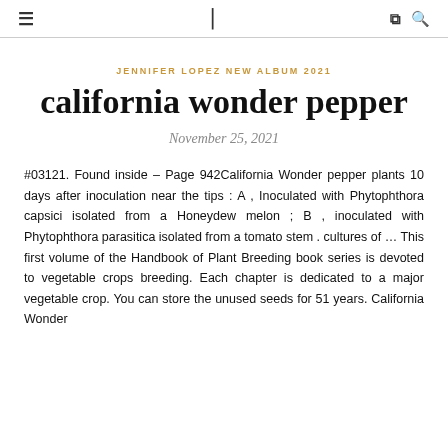≡  |  🔖  🔍
JENNIFER LOPEZ NEW ALBUM 2021
california wonder pepper
November 25, 2021
#03121. Found inside – Page 942California Wonder pepper plants 10 days after inoculation near the tips : A , Inoculated with Phytophthora capsici isolated from a Honeydew melon ; B , inoculated with Phytophthora parasitica isolated from a tomato stem . cultures of … This first volume of the Handbook of Plant Breeding book series is devoted to vegetable crops breeding. Each chapter is dedicated to a major vegetable crop. You can store the unused seeds for 51 years. California Wonder...